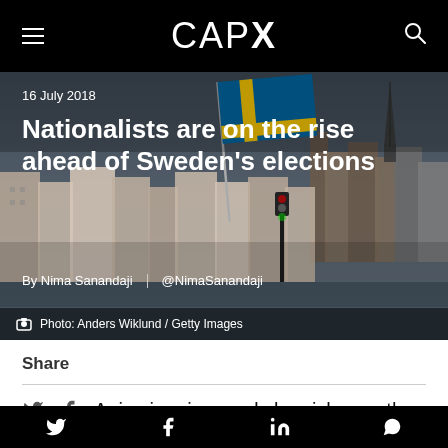CAPX
[Figure (photo): Stockholm cityscape with Swedish flag flying in foreground, church spire and colourful buildings in background, muted tones]
16 July 2018
Nationalists are on the rise ahead of Sweden's elections
By Nima Sanandaji  |  @NimaSanandaji
Photo: Anders Wiklund / Getty Images
Share
A rise in crime and sluggish growth have fanned the flames of nationalism in Sweden